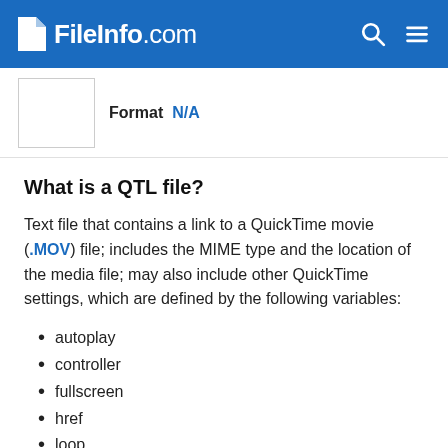FileInfo.com
Format N/A
What is a QTL file?
Text file that contains a link to a QuickTime movie (.MOV) file; includes the MIME type and the location of the media file; may also include other QuickTime settings, which are defined by the following variables:
autoplay
controller
fullscreen
href
loop
playeveryframe